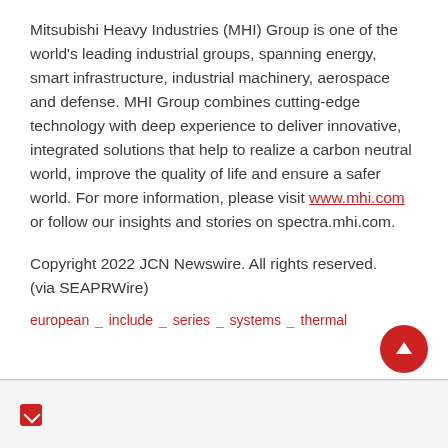Mitsubishi Heavy Industries (MHI) Group is one of the world's leading industrial groups, spanning energy, smart infrastructure, industrial machinery, aerospace and defense. MHI Group combines cutting-edge technology with deep experience to deliver innovative, integrated solutions that help to realize a carbon neutral world, improve the quality of life and ensure a safer world. For more information, please visit www.mhi.com or follow our insights and stories on spectra.mhi.com.
Copyright 2022 JCN Newswire. All rights reserved. (via SEAPRWire)
european _ include _ series _ systems _ thermal